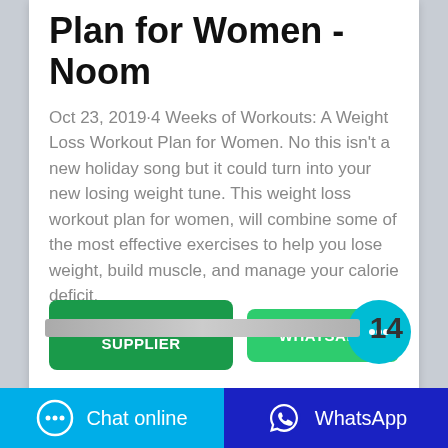Week Weight Loss Workout Plan for Women - Noom
Oct 23, 2019·4 Weeks of Workouts: A Weight Loss Workout Plan for Women. No this isn't a new holiday song but it could turn into your new losing weight tune. This weight loss workout plan for women, will combine some of the most effective exercises to help you lose weight, build muscle, and manage your calorie deficit.
[Figure (screenshot): Two green buttons labeled CONTACT SUPPLIER and WHATSAPP, plus a cyan circular chat bubble icon with ellipsis]
[Figure (screenshot): Horizontal scrollbar with number 14 to the right]
Chat online   WhatsApp